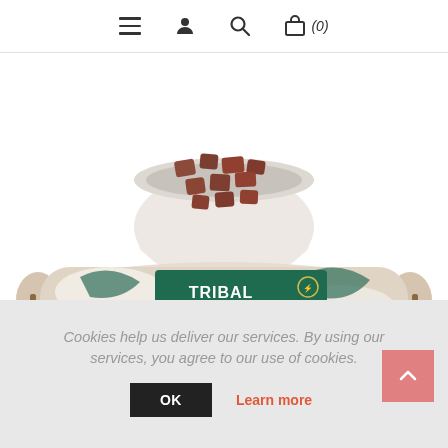Navigation bar with hamburger menu, user icon, search icon, and shopping bag icon with (0)
[Figure (photo): Product photo showing a Tribal 80% Fresh Chicken pet food sausage roll with green and gold label, with a bowl of chunked meat pieces above it on a white background]
Cookies help us deliver our services. By using our services, you agree to our use of cookies.
OK
Learn more